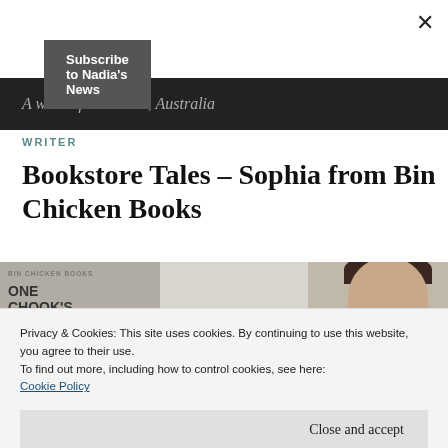Subscribe to Nadia's News
A writer from Perth, Australia
WRITER
Bookstore Tales – Sophia from Bin Chicken Books
[Figure (photo): Image showing a book/poster for Bin Chicken Books with text 'ONE CHOOK'S TRASH IS ANOTHER CHOOK'S', a white mug on books, and a partial photo of a woman's face]
Privacy & Cookies: This site uses cookies. By continuing to use this website, you agree to their use.
To find out more, including how to control cookies, see here:
Cookie Policy
Close and accept